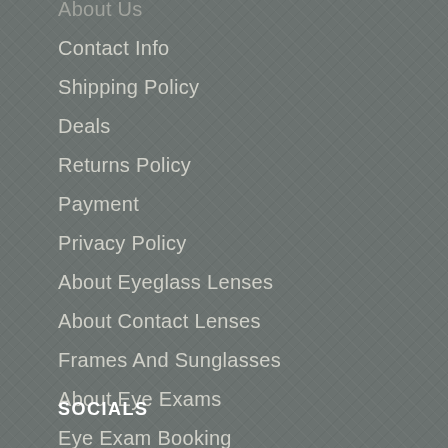About Us
Contact Info
Shipping Policy
Deals
Returns Policy
Payment
Privacy Policy
About Eyeglass Lenses
About Contact Lenses
Frames And Sunglasses
About Eye Exams
Eye Exam Booking
SOCIALS